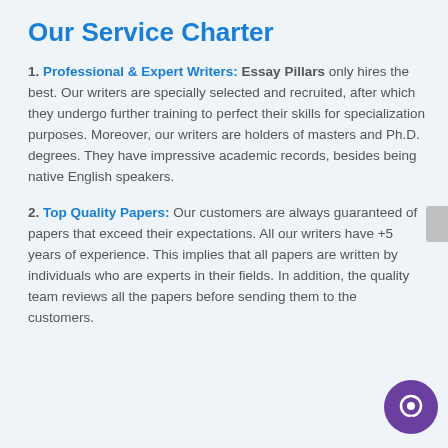Our Service Charter
1. Professional & Expert Writers: Essay Pillars only hires the best. Our writers are specially selected and recruited, after which they undergo further training to perfect their skills for specialization purposes. Moreover, our writers are holders of masters and Ph.D. degrees. They have impressive academic records, besides being native English speakers.
2. Top Quality Papers: Our customers are always guaranteed of papers that exceed their expectations. All our writers have +5 years of experience. This implies that all papers are written by individuals who are experts in their fields. In addition, the quality team reviews all the papers before sending them to the customers.